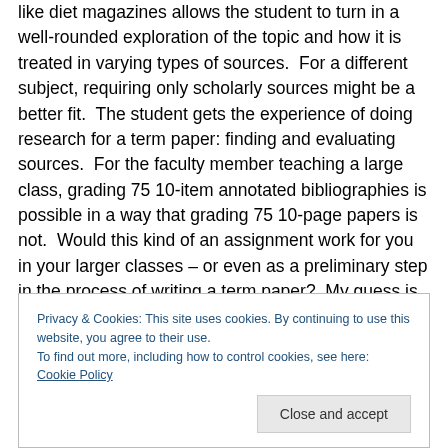like diet magazines allows the student to turn in a well-rounded exploration of the topic and how it is treated in varying types of sources.  For a different subject, requiring only scholarly sources might be a better fit.  The student gets the experience of doing research for a term paper: finding and evaluating sources.  For the faculty member teaching a large class, grading 75 10-item annotated bibliographies is possible in a way that grading 75 10-page papers is not.  Would this kind of an assignment work for you in your larger classes – or even as a preliminary step in the process of writing a term paper?  My guess is it
Privacy & Cookies: This site uses cookies. By continuing to use this website, you agree to their use.
To find out more, including how to control cookies, see here: Cookie Policy